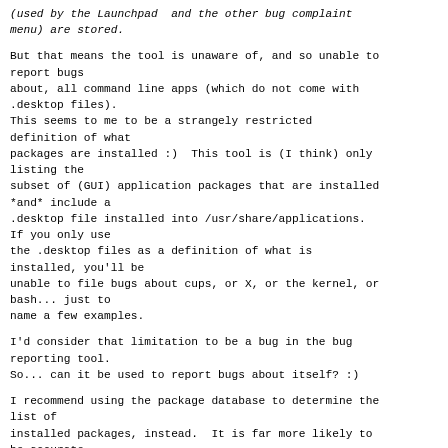(used by the Launchpad  and the other bug complaint menu) are stored.
But that means the tool is unaware of, and so unable to report bugs
about, all command line apps (which do not come with .desktop files).
This seems to me to be a strangely restricted definition of what
packages are installed :)  This tool is (I think) only listing the
subset of (GUI) application packages that are installed *and* include a
.desktop file installed into /usr/share/applications.
If you only use
the .desktop files as a definition of what is installed, you'll be
unable to file bugs about cups, or X, or the kernel, or bash... just to
name a few examples.
I'd consider that limitation to be a bug in the bug reporting tool.
So... can it be used to report bugs about itself? :)
I recommend using the package database to determine the list of
installed packages, instead.  It is far more likely to be accurate.